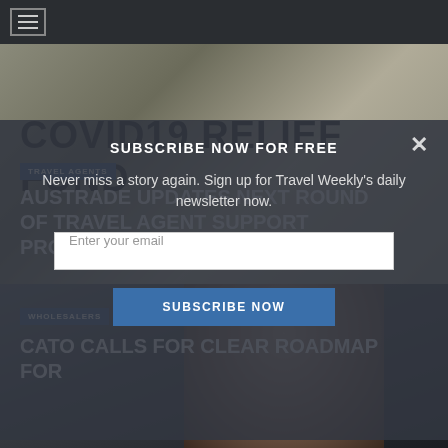Navigation bar with hamburger menu
[Figure (photo): Newspaper or printed banner reading COVID19 RELIEF FUND in bold uppercase letters on textured paper background]
TRAVEL AGENTS
AUSTRADE UPDATES NEXT ROUND OF TRAVEL AGENT SUPPORT PROGRAM
SUBSCRIBE NOW FOR FREE
Never miss a story again. Sign up for Travel Weekly's daily newsletter now.
Enter your email
SUBSCRIBE NOW
[Figure (photo): Close-up portrait of a middle-aged man with short grey hair against a dark background]
WHOLESALERS
CATO CALLS FOR CLEAR ROADMAP FOR